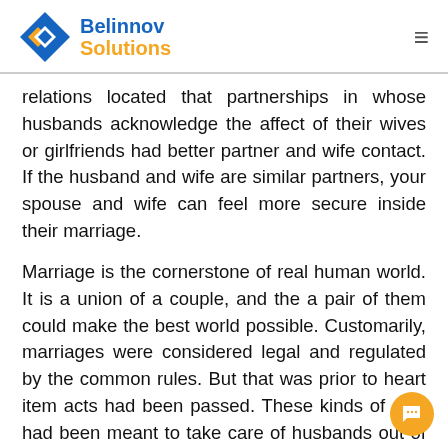Belinnov Solutions
relations located that partnerships in whose husbands acknowledge the affect of their wives or girlfriends had better partner and wife contact. If the husband and wife are similar partners, your spouse and wife can feel more secure inside their marriage.
Marriage is the cornerstone of real human world. It is a union of a couple, and the a pair of them could make the best world possible. Customarily, marriages were considered legal and regulated by the common rules. But that was prior to heart item acts had been passed. These kinds of acts had been meant to take care of husbands out of liability, and it shifted our legal system to patrol marriages. Today, the law of